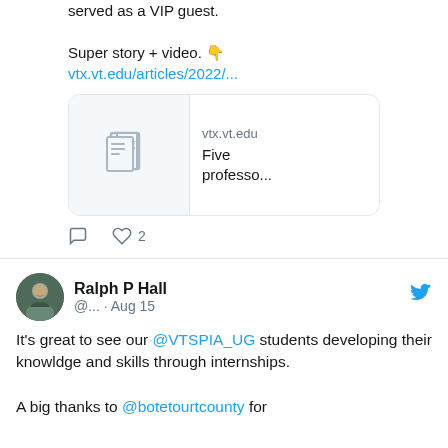served as a VIP guest.

Super story + video. 👇
vtx.vt.edu/articles/2022/...
[Figure (screenshot): Link preview card showing vtx.vt.edu with article icon and text 'Five professo...']
♡ 2
Ralph P Hall @... · Aug 15
It's great to see our @VTSPIA_UG students developing their knowldge and skills through internships.

A big thanks to @botetourtcounty for